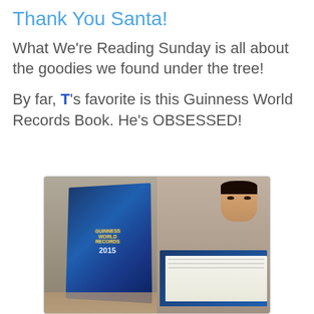Thank You Santa!
What We're Reading Sunday is all about the goodies we found under the tree!
By far, T's favorite is this Guinness World Records Book. He's OBSESSED!
[Figure (photo): Two side-by-side photos: left shows a child holding up the Guinness World Records 2015 book covering their face; right shows the same child reading the open book intently.]